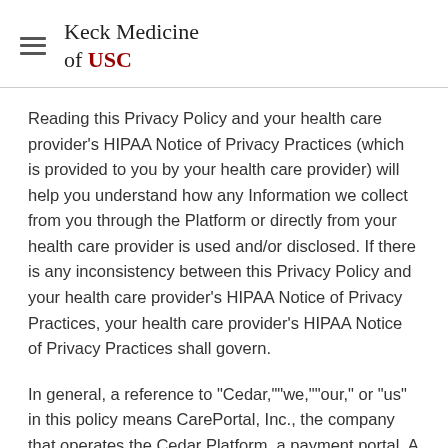Keck Medicine of USC
Reading this Privacy Policy and your health care provider’s HIPAA Notice of Privacy Practices (which is provided to you by your health care provider) will help you understand how any Information we collect from you through the Platform or directly from your health care provider is used and/or disclosed. If there is any inconsistency between this Privacy Policy and your health care provider’s HIPAA Notice of Privacy Practices, your health care provider’s HIPAA Notice of Privacy Practices shall govern.
In general, a reference to “Cedar,”“we,”“our,” or “us” in this policy means CarePortal, Inc., the company that operates the Cedar Platform, a payment portal. A reference to the “Platform” in this policy means the software platform that allows you to elect to receive